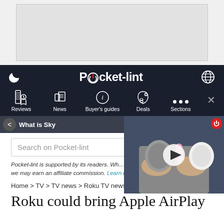[Figure (screenshot): Gray advertisement banner placeholder at top of page]
Pocket-lint navigation bar with logo, moon icon, globe icon, and nav items: Reviews, News, Buyer's guides, Deals, Sections
[Figure (screenshot): Ticker bar showing 'What is Sky...' with prev/next navigation buttons]
[Figure (screenshot): Video thumbnail showing a man holding two smart home devices with a play button overlay]
Search on Pocket-lint
Pocket-lint is supported by its readers. Wh... we may earn an affiliate commission. Learn more
Home > TV > TV news > Roku TV news
Roku could bring Apple AirPlay